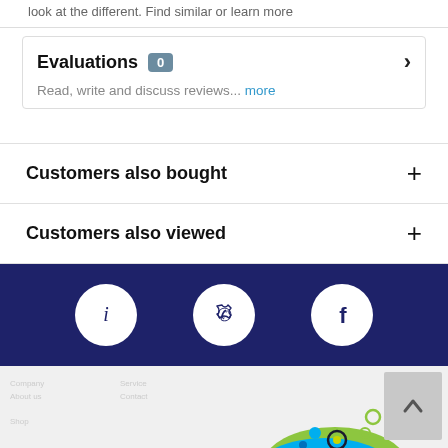look at the different. Find similar or learn more
Evaluations 0
Read, write and discuss reviews... more
Customers also bought
Customers also viewed
[Figure (infographic): Dark blue banner with three white circle icons: info (i), phone, and Facebook (f)]
[Figure (logo): Partial logo with green and blue bubble/wave design at bottom of page, with back-to-top arrow button]